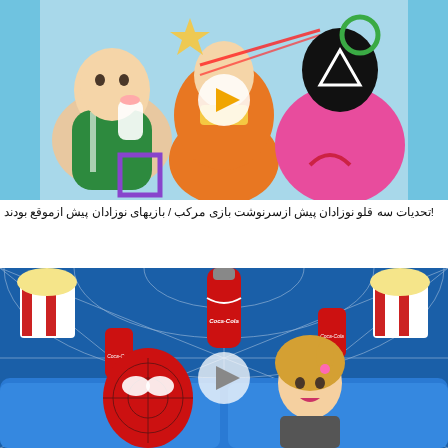[Figure (photo): Illustrated/digital art image of three babies lying in a crib: one dressed in green holding a baby bottle, one in an orange sleeping bag in the center, and one wearing a pink squid game guard costume with black helmet. Colorful shapes (star, square, circle, triangle) are scattered around. A play button overlay is in the center.]
تحدیات سه قلو نوزادان پیش ازسرنوشت بازی مرکب / بازیهای نوزادان پیش ازموقع بودند!
[Figure (photo): Digital art image showing a cinema scene with a woman sitting on a blue couch next to a Spider-Man masked figure. Floating around them are Coca-Cola cans, a Coca-Cola bottle, and buckets of popcorn against a spiderweb background. A play button overlay is in the center.]